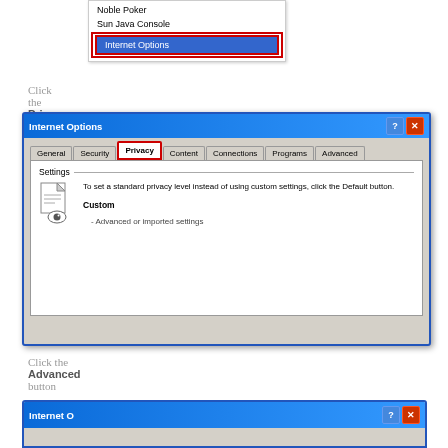[Figure (screenshot): Windows XP context menu showing Noble Poker, Sun Java Console, and Internet Options items, with Internet Options highlighted in blue and outlined in red]
Click the Privacy tab
[Figure (screenshot): Windows XP Internet Options dialog box showing tabs: General, Security, Privacy (highlighted with red border), Content, Connections, Programs, Advanced. Settings panel visible with privacy icon and Custom settings text.]
Click the Advanced button
[Figure (screenshot): Bottom portion of Internet Options dialog, partially visible]